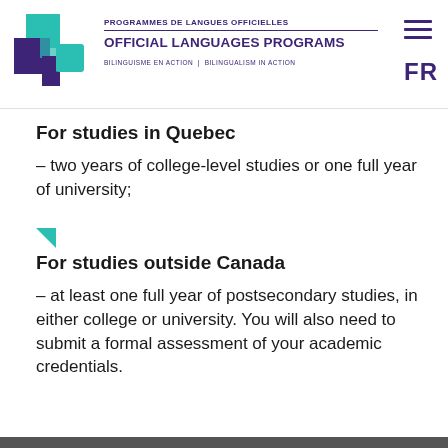PROGRAMMES DE LANGUES OFFICIELLES | OFFICIAL LANGUAGES PROGRAMS | BILINGUISME EN ACTION | BILINGUALISM IN ACTION
For studies in Quebec
– two years of college-level studies or one full year of university;
For studies outside Canada
– at least one full year of postsecondary studies, in either college or university. You will also need to submit a formal assessment of your academic credentials.